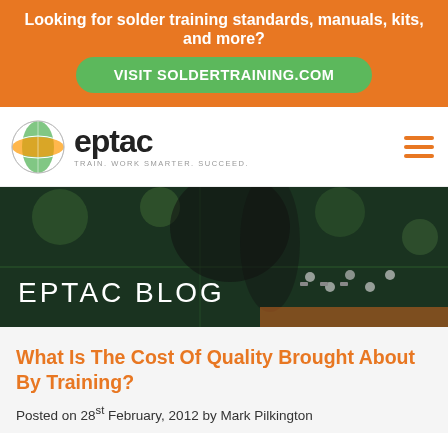Looking for solder training standards, manuals, kits, and more?
VISIT SOLDERTRAINING.COM
[Figure (logo): EPTAC logo with globe icon and tagline TRAIN. WORK SMARTER. SUCCEED.]
[Figure (photo): Dark close-up photo of hands working on a green printed circuit board with soldering components, used as hero banner background]
EPTAC BLOG
What Is The Cost Of Quality Brought About By Training?
Posted on 28st February, 2012 by Mark Pilkington